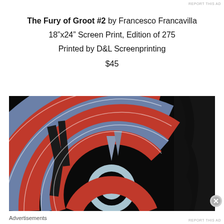The Fury of Groot #2 by Francesco Francavilla
18"x24" Screen Print, Edition of 275
Printed by D&L Screenprinting
$45
[Figure (illustration): Comic book style screen print artwork showing concentric arcs in red and blue/steel blue colors on a black background, depicting the shield of a Marvel character (Groot/Nick Fury themed). A circular bullseye target pattern in light blue is visible at center, with dark jagged shapes suggesting claws or wood on the left side.]
Advertisements